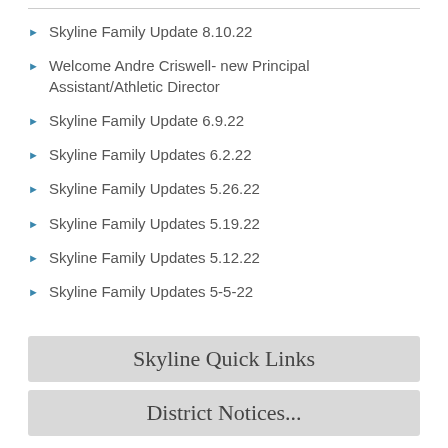Skyline Family Update 8.10.22
Welcome Andre Criswell- new Principal Assistant/Athletic Director
Skyline Family Update 6.9.22
Skyline Family Updates 6.2.22
Skyline Family Updates 5.26.22
Skyline Family Updates 5.19.22
Skyline Family Updates 5.12.22
Skyline Family Updates 5-5-22
Skyline Quick Links
District Notices...